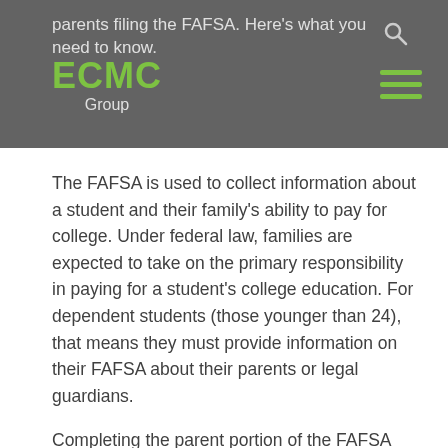parents filing the FAFSA. Here's what you need to know.
[Figure (logo): ECMC Group logo with green text and hamburger menu icon]
The FAFSA is used to collect information about a student and their family's ability to pay for college. Under federal law, families are expected to take on the primary responsibility in paying for a student's college education. For dependent students (those younger than 24), that means they must provide information on their FAFSA about their parents or legal guardians.
Completing the parent portion of the FAFSA